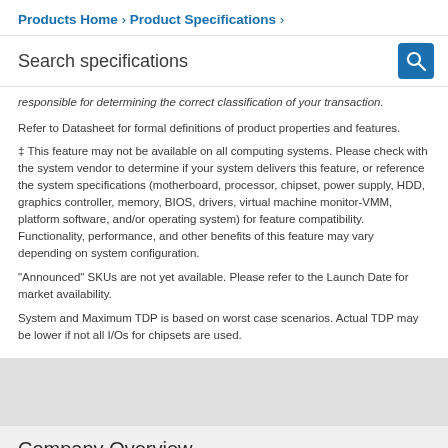Products Home › Product Specifications ›
Search specifications
responsible for determining the correct classification of your transaction.
Refer to Datasheet for formal definitions of product properties and features.
‡ This feature may not be available on all computing systems. Please check with the system vendor to determine if your system delivers this feature, or reference the system specifications (motherboard, processor, chipset, power supply, HDD, graphics controller, memory, BIOS, drivers, virtual machine monitor-VMM, platform software, and/or operating system) for feature compatibility. Functionality, performance, and other benefits of this feature may vary depending on system configuration.
"Announced" SKUs are not yet available. Please refer to the Launch Date for market availability.
System and Maximum TDP is based on worst case scenarios. Actual TDP may be lower if not all I/Os for chipsets are used.
Company Overview